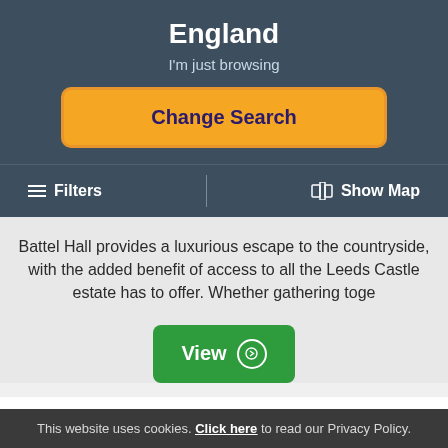England
I'm just browsing
Change Search
Filters
Show Map
Battel Hall provides a luxurious escape to the countryside, with the added benefit of access to all the Leeds Castle estate has to offer. Whether gathering toge
View
This website uses cookies. Click here to read our Privacy Policy.